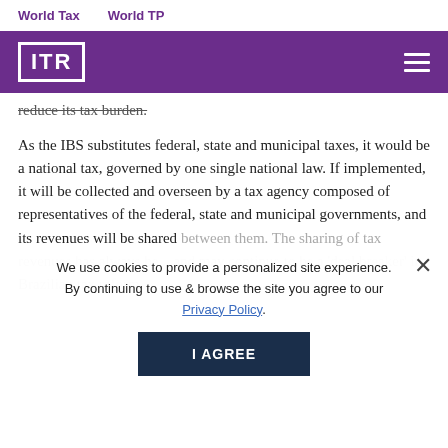World Tax    World TP
[Figure (logo): ITR logo: white text 'ITR' in white border box on purple background header bar with hamburger menu icon on right]
reduce its tax burden.
As the IBS substitutes federal, state and municipal taxes, it would be a national tax, governed by one single national law. If implemented, it will be collected and overseen by a tax agency composed of representatives of the federal, state and municipal governments, and its revenues will be shared between them. The sharing of tax revenues has always be... and may continue to be a 'deal breaker' in Brazilian tax reform.
We use cookies to provide a personalized site experience. By continuing to use & browse the site you agree to our Privacy Policy.
The IBS will be subject to a global tax rate (the same for every good and service), composed of the sum of the rates established by the federal, state and municipal governments. Therefore, the IBS rates will vary depending on the location where the transaction is carried on.